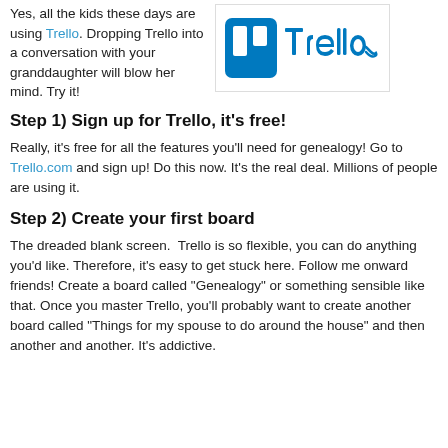Yes, all the kids these days are using Trello. Dropping Trello into a conversation with your granddaughter will blow her mind. Try it!
[Figure (logo): Trello logo: blue board icon and stylized blue 'Trello' wordmark on white background with light border]
Step 1) Sign up for Trello, it's free!
Really, it's free for all the features you'll need for genealogy! Go to Trello.com and sign up! Do this now. It's the real deal. Millions of people are using it.
Step 2) Create your first board
The dreaded blank screen.  Trello is so flexible, you can do anything you'd like. Therefore, it's easy to get stuck here. Follow me onward friends! Create a board called "Genealogy" or something sensible like that. Once you master Trello, you'll probably want to create another board called "Things for my spouse to do around the house" and then another and another. It's addictive.